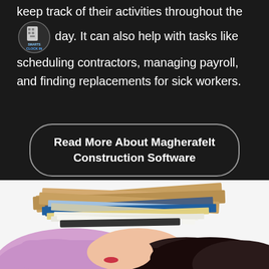keep track of their activities throughout the day. It can also help with tasks like scheduling contractors, managing payroll, and finding replacements for sick workers.
Read More About Magherafelt Construction Software
[Figure (photo): A woman with dark hair slumped face-down on a surface with a large disorganized stack of folders, binders, notebooks and papers piled on top of her head. She appears overwhelmed and exhausted. She is wearing a light purple/lavender short-sleeve shirt. White background.]